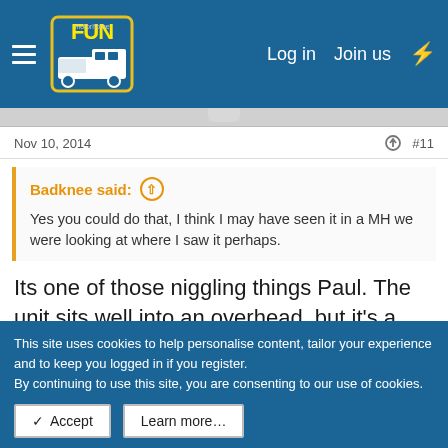Log in  Join us
Nov 10, 2014  #11
Badknee said: ↑

Yes you could do that, I think I may have seen it in a MH we were looking at where I saw it perhaps.
Its one of those niggling things Paul. The unit sits well into an overhead, but it's a sod getting the mike door open because it's recessed inside. The boss wants it to slide out, and so 🙂
This site uses cookies to help personalise content, tailor your experience and to keep you logged in if you register.
By continuing to use this site, you are consenting to our use of cookies.
✓ Accept   Learn more…